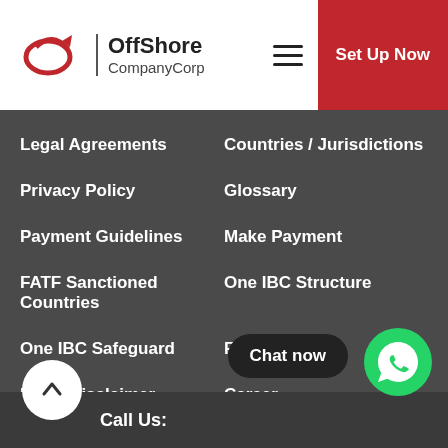OffShore CompanyCorp — Set Up Now
Legal Agreements
Countries / Jurisdictions
Privacy Policy
Glossary
Payment Guidelines
Make Payment
FATF Sanctioned Countries
One IBC Structure
One IBC Safeguard
FAQs
Legal Disclaimer
Career
Social Network
[Figure (infographic): Social media icons: Facebook, YouTube, LinkedIn, Instagram, Twitter]
Chat now
Call Us: